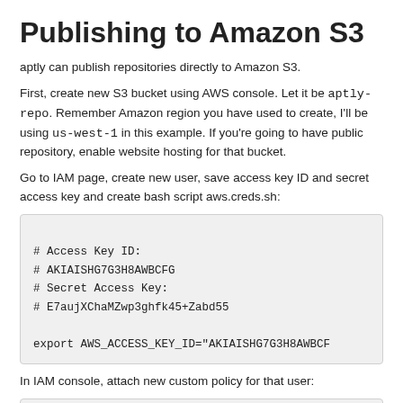Publishing to Amazon S3
aptly can publish repositories directly to Amazon S3.
First, create new S3 bucket using AWS console. Let it be aptly-repo. Remember Amazon region you have used to create, I'll be using us-west-1 in this example. If you're going to have public repository, enable website hosting for that bucket.
Go to IAM page, create new user, save access key ID and secret access key and create bash script aws.creds.sh:
# Access Key ID:
# AKIAISHG7G3H8AWBCFG
# Secret Access Key:
# E7aujXChaMZwp3ghfk45+Zabd55

export AWS_ACCESS_KEY_ID="AKIAISHG7G3H8AWBCF
In IAM console, attach new custom policy for that user:
{